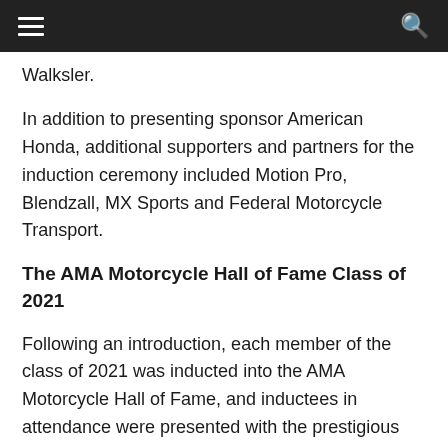Navigation header bar with menu and search icons
Walksler.
In addition to presenting sponsor American Honda, additional supporters and partners for the induction ceremony included Motion Pro, Blendzall, MX Sports and Federal Motorcycle Transport.
The AMA Motorcycle Hall of Fame Class of 2021
Following an introduction, each member of the class of 2021 was inducted into the AMA Motorcycle Hall of Fame, and inductees in attendance were presented with the prestigious Hall of Fame ring by fellow Hall of Famers and inductees by the Mayor of the inductee area, their...